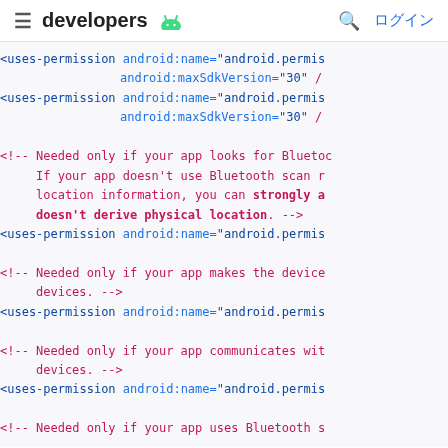≡ developers 🤖  🔍 ログイン
<uses-permission android:name="android.permis
                 android:maxSdkVersion="30" /
<uses-permission android:name="android.permis
                 android:maxSdkVersion="30" /

<!-- Needed only if your app looks for Bluetoc
     If your app doesn't use Bluetooth scan r
     location information, you can strongly a
     doesn't derive physical location. -->
<uses-permission android:name="android.permis

<!-- Needed only if your app makes the device
     devices. -->
<uses-permission android:name="android.permis

<!-- Needed only if your app communicates wit
     devices. -->
<uses-permission android:name="android.permis

<!-- Needed only if your app uses Bluetooth s